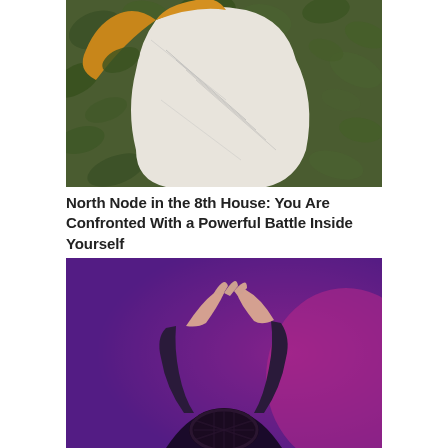[Figure (illustration): An illustration of a person lying among dark green leaves and foliage, rendered in a semi-sketch style with pencil lines on the figure and painted botanical surroundings.]
North Node in the 8th House: You Are Confronted With a Powerful Battle Inside Yourself
[Figure (photo): A photograph of a person with dark hair wearing a black lace outfit, raising their hands above their head against a purple and magenta background.]